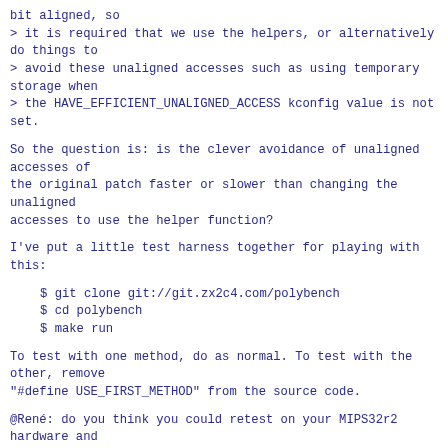bit aligned, so
> it is required that we use the helpers, or alternatively do things to
> avoid these unaligned accesses such as using temporary storage when
> the HAVE_EFFICIENT_UNALIGNED_ACCESS kconfig value is not set.
So the question is: is the clever avoidance of unaligned accesses of
the original patch faster or slower than changing the unaligned
accesses to use the helper function?
I've put a little test harness together for playing with this:
$ git clone git://git.zx2c4.com/polybench
    $ cd polybench
    $ make run
To test with one method, do as normal. To test with the other, remove
"#define USE_FIRST_METHOD" from the source code.
@René: do you think you could retest on your MIPS32r2 hardware and
report back which is faster?
And if anybody else has other hardware and would like